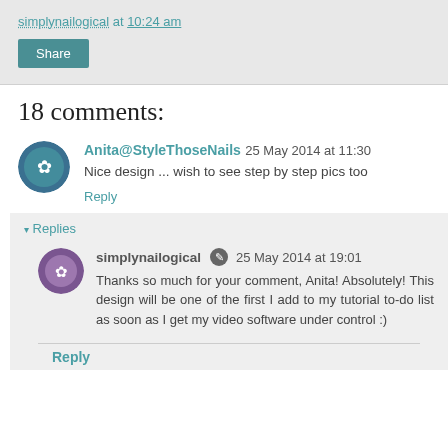simplynailogical at 10:24 am
Share
18 comments:
Anita@StyleThoseNails 25 May 2014 at 11:30
Nice design ... wish to see step by step pics too
Reply
▾ Replies
simplynailogical 25 May 2014 at 19:01
Thanks so much for your comment, Anita! Absolutely! This design will be one of the first I add to my tutorial to-do list as soon as I get my video software under control :)
Reply